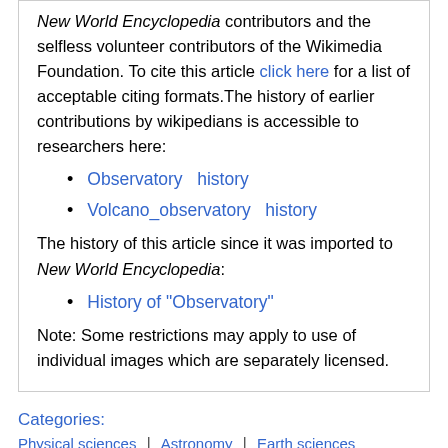New World Encyclopedia contributors and the selfless volunteer contributors of the Wikimedia Foundation. To cite this article click here for a list of acceptable citing formats.The history of earlier contributions by wikipedians is accessible to researchers here:
Observatory  history
Volcano_observatory  history
The history of this article since it was imported to New World Encyclopedia:
History of "Observatory"
Note: Some restrictions may apply to use of individual images which are separately licensed.
Categories:
Physical sciences | Astronomy | Earth sciences